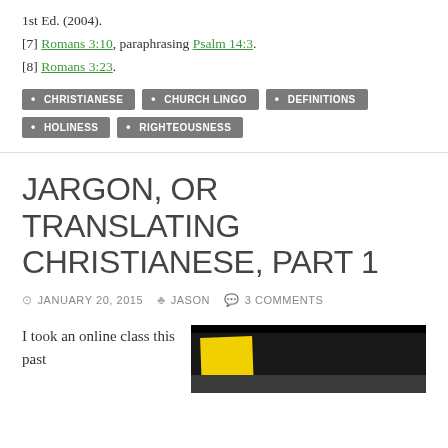1st Ed. (2004).
[7] Romans 3:10, paraphrasing Psalm 14:3.
[8] Romans 3:23.
CHRISTIANESE
CHURCH LINGO
DEFINITIONS
HOLINESS
RIGHTEOUSNESS
JARGON, OR TRANSLATING CHRISTIANESE, PART 1
JANUARY 20, 2015   JASON   3 COMMENTS
I took an online class this past
[Figure (photo): Photo showing a yellow sticky note on a dark shelf or cabinet, with a dark background]